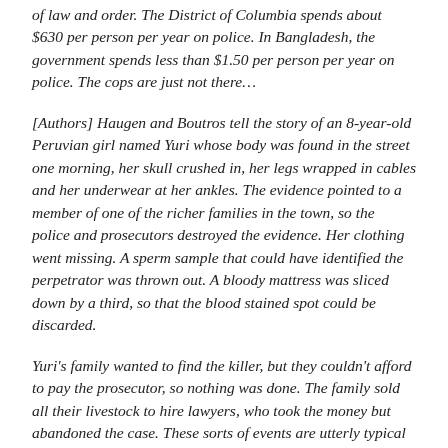of law and order. The District of Columbia spends about $630 per person per year on police. In Bangladesh, the government spends less than $1.50 per person per year on police. The cops are just not there…
[Authors] Haugen and Boutros tell the story of an 8-year-old Peruvian girl named Yuri whose body was found in the street one morning, her skull crushed in, her legs wrapped in cables and her underwear at her ankles. The evidence pointed to a member of one of the richer families in the town, so the police and prosecutors destroyed the evidence. Her clothing went missing. A sperm sample that could have identified the perpetrator was thrown out. A bloody mattress was sliced down by a third, so that the blood stained spot could be discarded.
Yuri's family wanted to find the killer, but they couldn't afford to pay the prosecutor, so nothing was done. The family sold all their livestock to hire lawyers, who took the money but abandoned the case. These sorts of events are utterly typical — the products of legal systems that range from the arbitrary to the Kafkaesque.
We in the affluent world live on one side of a great global threshold… But people without our inherited institutions live on the